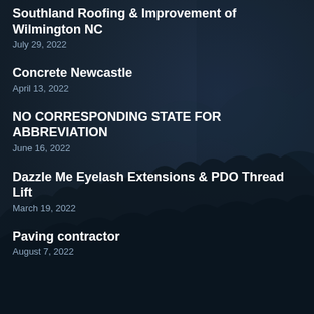Southland Roofing & Improvement of Wilmington NC
July 29, 2022
Concrete Newcastle
April 13, 2022
NO CORRESPONDING STATE FOR ABBREVIATION
June 16, 2022
Dazzle Me Eyelash Extensions & PDO Thread Lift
March 19, 2022
Paving contractor
August 7, 2022